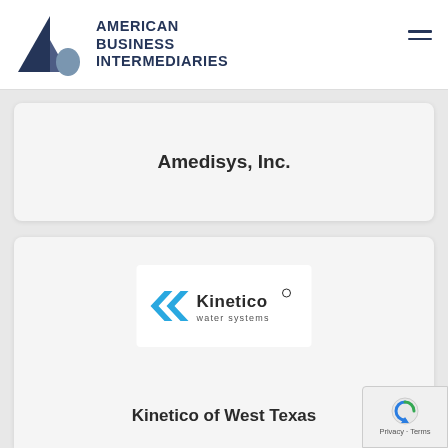[Figure (logo): American Business Intermediaries logo with a triangle/mountain graphic in dark blue and grey, followed by the text AMERICAN BUSINESS INTERMEDIARIES in dark blue bold uppercase]
Amedisys, Inc.
[Figure (logo): Kinetico water systems logo with blue chevron arrows and the text 'Kinetico water systems' below]
Kinetico of West Texas